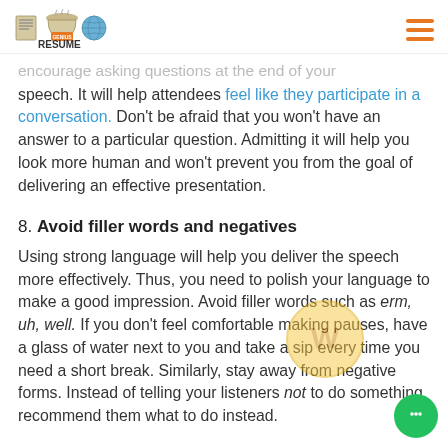Resume Genius [logo]
encourage asking questions at the end of your speech. It will help attendees feel like they participate in a conversation. Don't be afraid that you won't have an answer to a particular question. Admitting it will help you look more human and won't prevent you from the goal of delivering an effective presentation.
8. Avoid filler words and negatives
Using strong language will help you deliver the speech more effectively. Thus, you need to polish your language to make a good impression. Avoid filler words such as erm, uh, well. If you don't feel comfortable making pauses, have a glass of water next to you and take a sip every time you need a short break. Similarly, stay away from negative forms. Instead of telling your listeners not to do something, recommend them what to do instead.